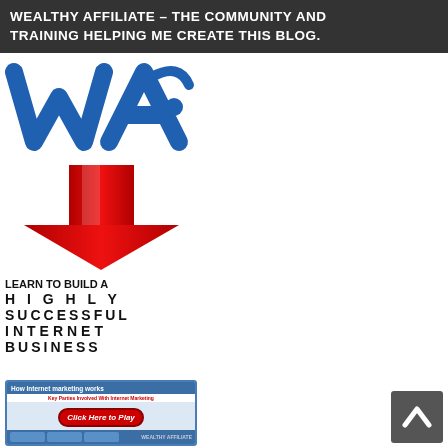WEALTHY AFFILIATE – THE COMMUNITY AND TRAINING HELPING ME CREATE THIS BLOG.
[Figure (logo): Wealthy Affiliate 'WA' logo in blue lettering]
[Figure (illustration): Large red downward-pointing arrow]
LEARN TO BUILD A HIGHLY SUCCESSFUL INTERNET BUSINESS
[Figure (screenshot): Video thumbnail showing 'How Internet marketing works' with 'Click Here to Play' button overlay and blue diagram boxes]
[Figure (other): Scroll-to-top button (dark grey square with white upward chevron)]